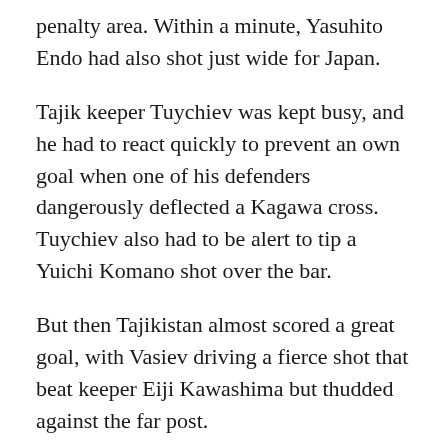penalty area. Within a minute, Yasuhito Endo had also shot just wide for Japan.
Tajik keeper Tuychiev was kept busy, and he had to react quickly to prevent an own goal when one of his defenders dangerously deflected a Kagawa cross. Tuychiev also had to be alert to tip a Yuichi Komano shot over the bar.
But then Tajikistan almost scored a great goal, with Vasiev driving a fierce shot that beat keeper Eiji Kawashima but thudded against the far post.
That chance perhaps sparked Japan into action, and, in the 35th minute, the deadlock was broken. Tuychiev made a great save from Nakamura's initial shot, but Yasuyuki Konno was first to the rebound to